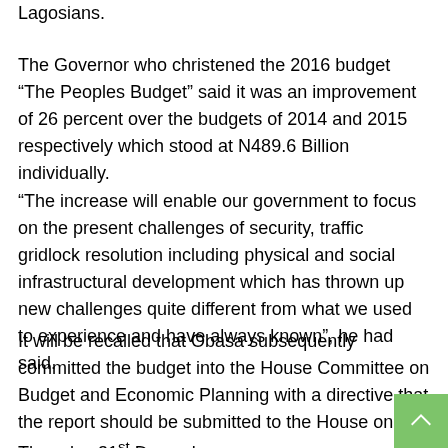Lagosians.
The Governor who christened the 2016 budget “The Peoples Budget” said it was an improvement of 26 percent over the budgets of 2014 and 2015 respectively which stood at N489.6 Billion individually.
“The increase will enable our government to focus on the present challenges of security, traffic gridlock resolution including physical and social infrastructural development which has thrown up new challenges quite different from what we used to experience and have always known”, he had said.
It will be recalled that Obasa subsequently committed the budget into the House Committee on Budget and Economic Planning with a directive that the report should be submitted to the House on Thursday 31st December.